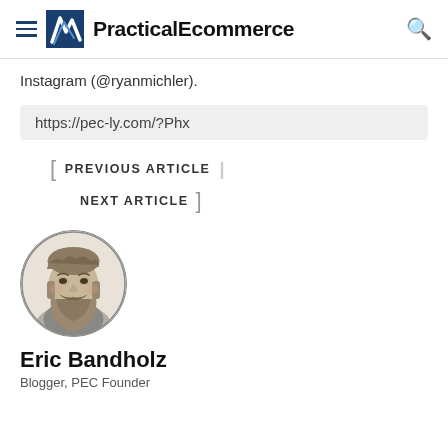PracticalEcommerce
Instagram (@ryanmichler).
https://pec-ly.com/?Phx
PREVIOUS ARTICLE
NEXT ARTICLE
[Figure (photo): Circular black and white portrait photo of Eric Bandholz, a man with wavy hair and a full beard]
Eric Bandholz
Blogger, PEC Founder